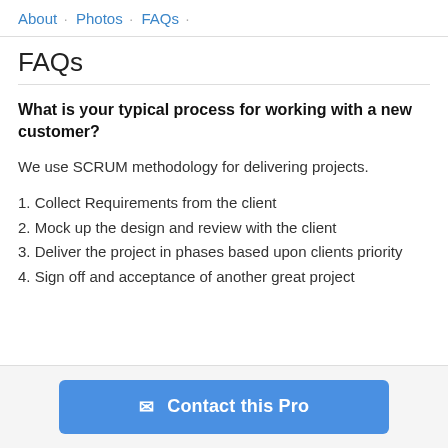About · Photos · FAQs ·
FAQs
What is your typical process for working with a new customer?
We use SCRUM methodology for delivering projects.
1. Collect Requirements from the client
2. Mock up the design and review with the client
3. Deliver the project in phases based upon clients priority
4. Sign off and acceptance of another great project
Contact this Pro